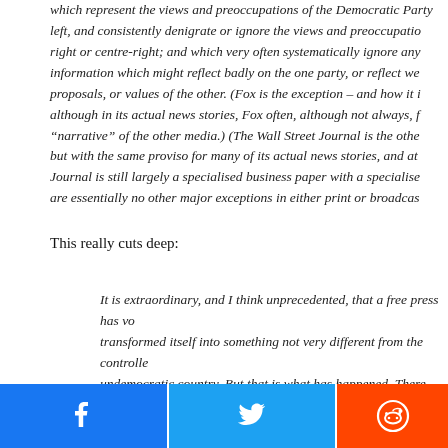which represent the views and preoccupations of the Democratic Party left, and consistently denigrate or ignore the views and preoccupations of the right or centre-right; and which very often systematically ignore any information which might reflect badly on the one party, or reflect well on the proposals, or values of the other. (Fox is the exception – and how it is – although in its actual news stories, Fox often, although not always, follows the "narrative" of the other media.) (The Wall Street Journal is the other exception, but with the same proviso for many of its actual news stories, and at that, the Journal is still largely a specialised business paper with a specialised audience.) There are essentially no other major exceptions in either print or broadcast.
This really cuts deep:
It is extraordinary, and I think unprecedented, that a free press has voluntarily transformed itself into something not very different from the controlled press of an undemocratic country. But that is what has happened. There are, to be sure, other sources of information and commentary in the US for anyone who seeks them out. (There are often such sources in undemocratic countries as well: foreign broadcasts, "underground" or samizdat circulation, and so on.) But the mainline